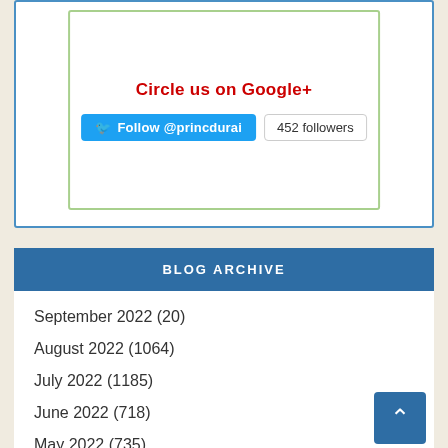Circle us on Google+
Follow @princdurai  452 followers
BLOG ARCHIVE
September 2022 (20)
August 2022 (1064)
July 2022 (1185)
June 2022 (718)
May 2022 (735)
April 2022 (907)
March 2022 (1153)
February 2022 (820)
January 2022 (702)
December 2021 (504)
November 2021 (413)